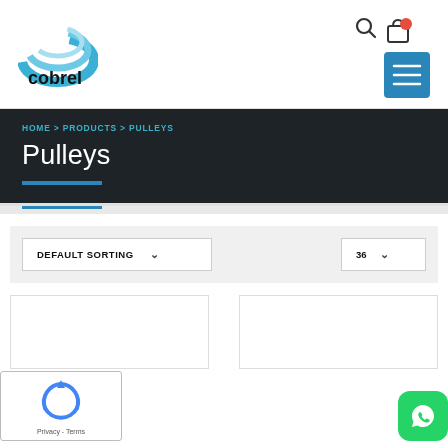[Figure (logo): Cobrel company logo with blue swoosh arcs and 'cobrel' text in black]
[Figure (screenshot): Search icon (magnifying glass) in dark color]
[Figure (screenshot): Cart icon with red notification badge showing items count]
[Figure (screenshot): Blue hamburger menu button with three white lines]
HOME > PRODUCTS > PULLEYS
Pulleys
DEFAULT SORTING ∨
36 ∨
[Figure (screenshot): reCAPTCHA widget with spinning arrow logo and 'Privacy - Terms' text]
[Figure (screenshot): WhatsApp green icon button in bottom right corner]